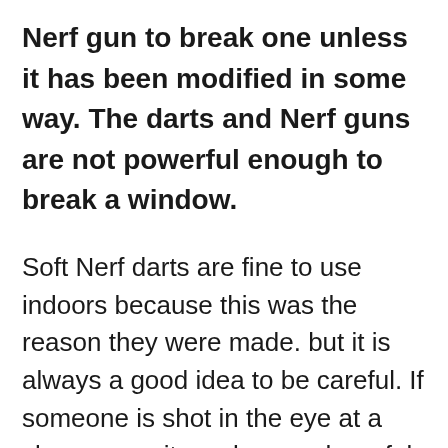Nerf gun to break one unless it has been modified in some way. The darts and Nerf guns are not powerful enough to break a window.
Soft Nerf darts are fine to use indoors because this was the reason they were made. but it is always a good idea to be careful. If someone is shot in the eye at a close range it can be very harmful to them.